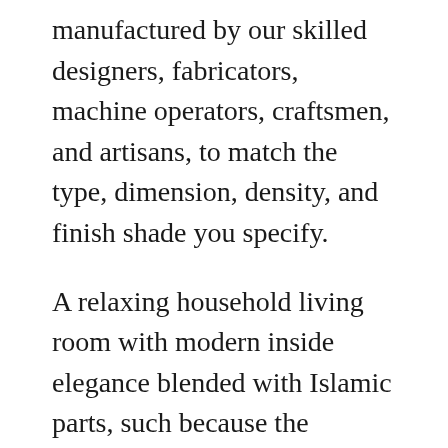manufactured by our skilled designers, fabricators, machine operators, craftsmen, and artisans, to match the type, dimension, density, and finish shade you specify.
A relaxing household living room with modern inside elegance blended with Islamic parts, such because the geometric patterns that decorate the recessed ceiling, the pointed arches that relaxation on the spiraling columns and the impartial colour palette with splashes of royal blue. Glazed panels improve the richness and perfection of oak interior doorways as gentle streaks in through these doors. Glass panes could also be beveled glass or frosted glass. Glazed oak inside doors are the